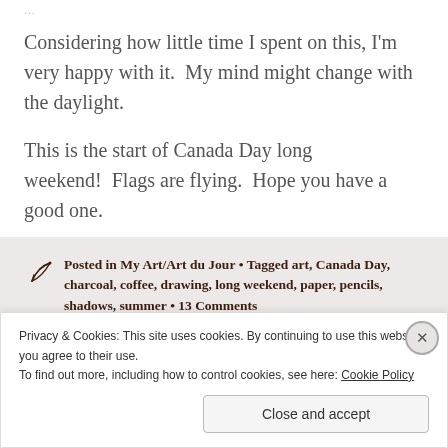Considering how little time I spent on this, I'm very happy with it.  My mind might change with the daylight.
This is the start of Canada Day long weekend!  Flags are flying.  Hope you have a good one.
Posted in My Art/Art du Jour • Tagged art, Canada Day, charcoal, coffee, drawing, long weekend, paper, pencils, shadows, summer • 13 Comments
Privacy & Cookies: This site uses cookies. By continuing to use this website, you agree to their use.
To find out more, including how to control cookies, see here: Cookie Policy
Close and accept